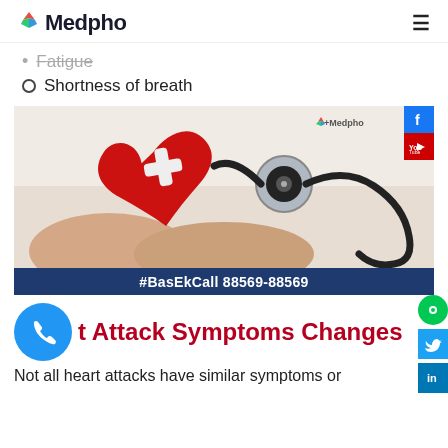Medpho
Fatigue
Shortness of breath
[Figure (photo): Hands holding a red heart model with a bandage cross on top, with a stethoscope placed on top. The image has a Medpho watermark in the top right. Below the image is a dark blue banner with the text '#BasEkCall 88569-88569' in white.]
Heart Attack Symptoms Changes
Not all heart attacks have similar symptoms or